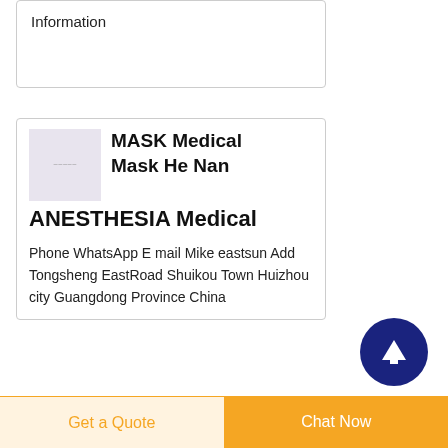Information
[Figure (screenshot): Product listing card with thumbnail image showing MASK Medical Mask He Nan ANESTHESIA Medical]
MASK Medical Mask He Nan ANESTHESIA Medical
Phone WhatsApp E mail Mike eastsun Add Tongsheng EastRoad Shuikou Town Huizhou city Guangdong Province China
[Figure (screenshot): Product listing card with thumbnail image showing Anaesthesia MasksDraeger]
Anaesthesia MasksDraeger
The LiteStar anesthesia mask
Get a Quote
Chat Now